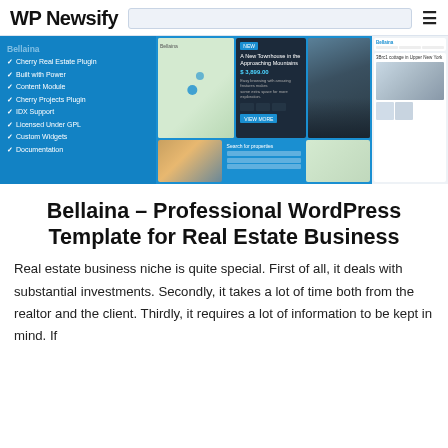WP Newsify
[Figure (screenshot): Bellaina WordPress real estate theme showcase with blue sidebar checklist (Cherry Real Estate Plugin, Built with Power, Content Module, Cherry Projects Plugin, IDX Support, Licensed Under GPL, Custom Widgets, Documentation) and multiple screenshot panels showing map, property detail, search forms, and property images.]
Bellaina – Professional WordPress Template for Real Estate Business
Real estate business niche is quite special. First of all, it deals with substantial investments. Secondly, it takes a lot of time both from the realtor and the client. Thirdly, it requires a lot of information to be kept in mind. If